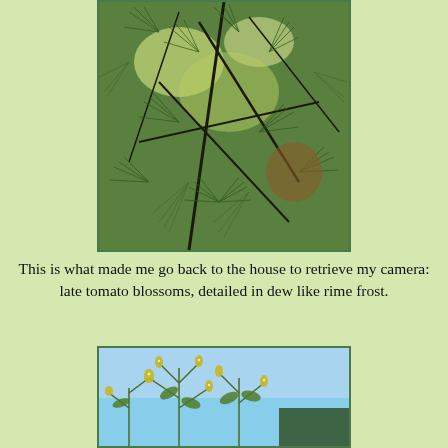[Figure (photo): Close-up upward-looking photo of pine tree branches with long green needles against a bright sky with light filtering through]
This is what made me go back to the house to retrieve my camera:
late tomato blossoms, detailed in dew like rime frost.
[Figure (photo): Photo of tomato plant blossoms with dew drops against a blue sky background]